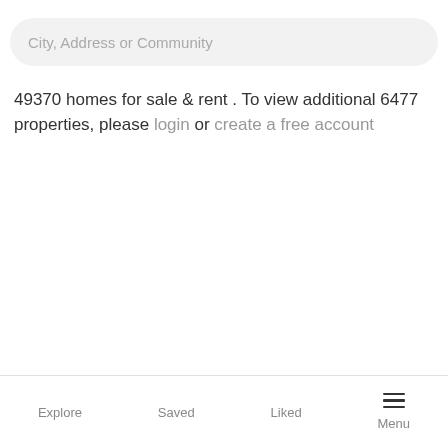[Figure (screenshot): Search bar with placeholder text 'City, Address or Community' on a light gray rounded rectangle background]
49370 homes for sale & rent . To view additional 6477 properties, please login or create a free account
Explore  Saved  Liked  Menu